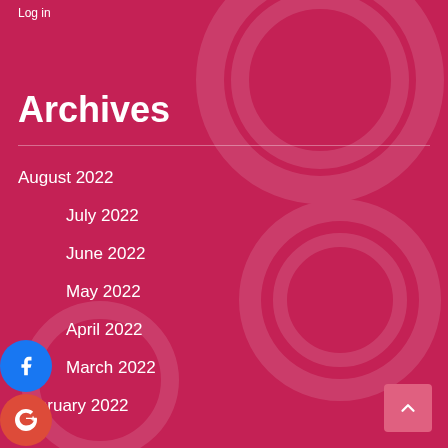Log in
Archives
August 2022
July 2022
June 2022
May 2022
April 2022
March 2022
February 2022
[Figure (illustration): Social sharing buttons: Facebook, Google+, Twitter, and a follow/add button stacked vertically on the left side of the page]
[Figure (illustration): Scroll to top button, pink square with upward chevron arrow, bottom right corner]